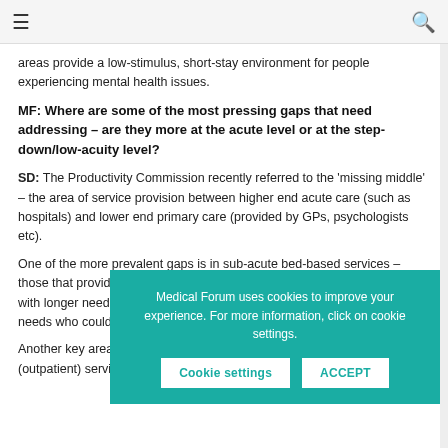☰ [menu] [search]
areas provide a low-stimulus, short-stay environment for people experiencing mental health issues.
MF: Where are some of the most pressing gaps that need addressing – are they more at the acute level or at the step-down/low-acuity level?
SD: The Productivity Commission recently referred to the 'missing middle' – the area of service provision between higher end acute care (such as hospitals) and lower end primary care (provided by GPs, psychologists etc).
One of the more ... bed-based service... hospital care. The... needs (communit... shorter-term nee... the community a...
Another key area... community mental health (outpatient) services. This is where
Medical Forum uses cookies to improve your experience. For more information, click on cookie settings.